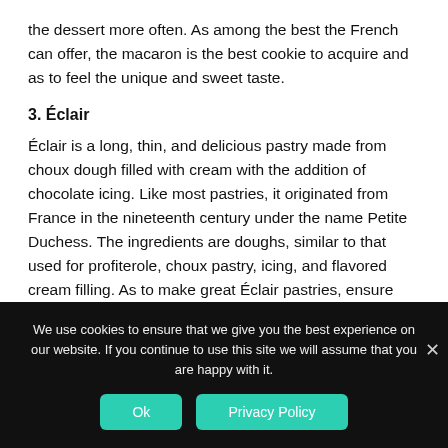the dessert more often. As among the best the French can offer, the macaron is the best cookie to acquire and as to feel the unique and sweet taste.
3. Éclair
Éclair is a long, thin, and delicious pastry made from choux dough filled with cream with the addition of chocolate icing. Like most pastries, it originated from France in the nineteenth century under the name Petite Duchess. The ingredients are doughs, similar to that used for profiterole, choux pastry, icing, and flavored cream filling. As to make great Éclair pastries, ensure they are uniform when piping the dough to a
We use cookies to ensure that we give you the best experience on our website. If you continue to use this site we will assume that you are happy with it.